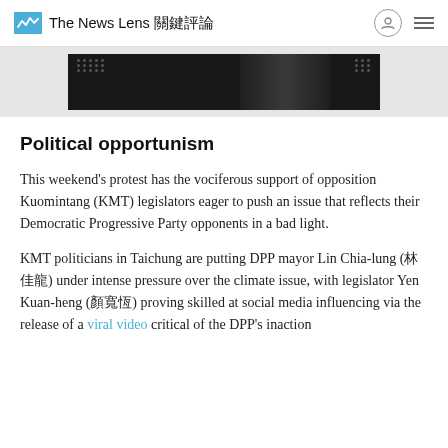The News Lens 關鍵評論
[Figure (photo): Partial view of a dark/black and white image with dot patterns in upper corners, appearing to be a video still or photograph partially visible at the top of the article.]
Political opportunism
This weekend's protest has the vociferous support of opposition Kuomintang (KMT) legislators eager to push an issue that reflects their Democratic Progressive Party opponents in a bad light.
KMT politicians in Taichung are putting DPP mayor Lin Chia-lung (林佳龍) under intense pressure over the climate issue, with legislator Yen Kuan-heng (顏寬恒) proving skilled at social media influencing via the release of a viral video critical of the DPP's inaction